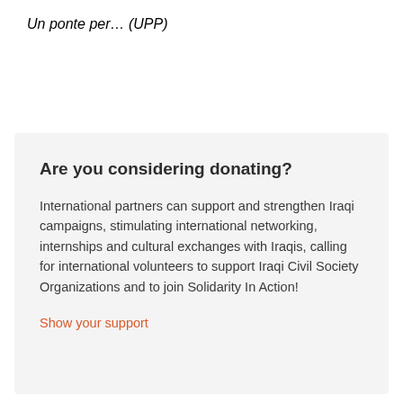Un ponte per… (UPP)
Are you considering donating?
International partners can support and strengthen Iraqi campaigns, stimulating international networking, internships and cultural exchanges with Iraqis, calling for international volunteers to support Iraqi Civil Society Organizations and to join Solidarity In Action!
Show your support